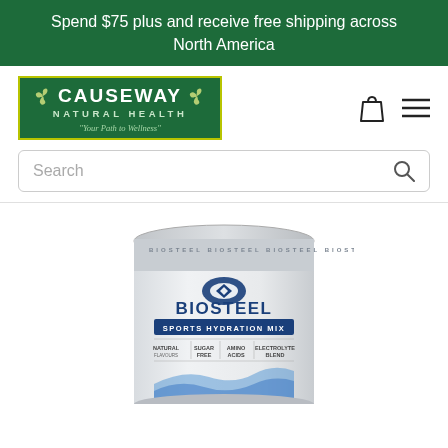Spend $75 plus and receive free shipping across North America
[Figure (logo): Causeway Natural Health logo — green background with triskelion symbols, 'CAUSEWAY NATURAL HEALTH' text, tagline 'Your Path to Wellness']
Search
[Figure (photo): BioSteel Sports Hydration Mix tub — white cylindrical container with blue BioSteel branding, showing 'SPORTS HYDRATION MIX', 'NATURAL', 'SUGAR FREE', 'AMINO ACIDS', 'ELECTROLYTE BLEND' labels]